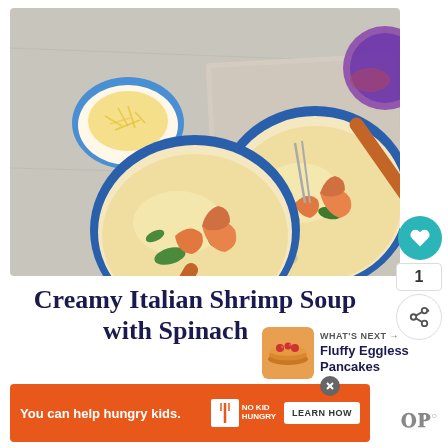[Figure (photo): Two blue bowls of creamy Italian shrimp soup with spinach, served with orange-handled spoons. A small bowl of shredded cheese on the left. Bowls sit on a linen cloth on a marble surface.]
Creamy Italian Shrimp Soup with Spinach →
[Figure (photo): Small thumbnail image of fluffy eggless pancakes with fruit.]
WHAT'S NEXT → Fluffy Eggless Pancakes
[Figure (other): Orange advertisement banner: 'You can help hungry kids.' with No Kid Hungry logo and LEARN HOW button.]